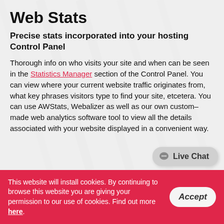Web Stats
Precise stats incorporated into your hosting Control Panel
Thorough info on who visits your site and when can be seen in the Statistics Manager section of the Control Panel. You can view where your current website traffic originates from, what key phrases visitors type to find your site, etcetera. You can use AWStats, Webalizer as well as our own custom–made web analytics software tool to view all the details associated with your website displayed in a convenient way.
[Figure (other): Live Chat button widget in lower right of main content area]
This website will install cookies. By continuing to browse this website you are giving your permission to our use of cookies. Find out more here.